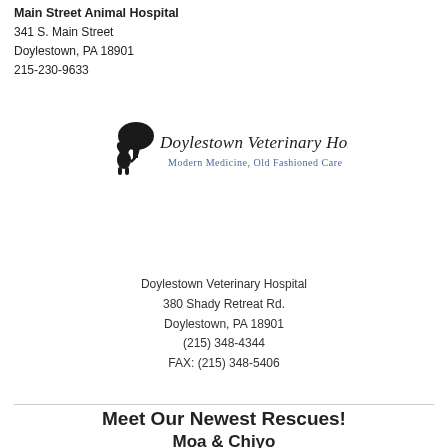Main Street Animal Hospital
341 S. Main Street
Doylestown, PA 18901
215-230-9633
[Figure (logo): Doylestown Veterinary Hospital logo with a dog sitting next to a tree and the text 'Doylestown Veterinary Hospital - Modern Medicine, Old Fashioned Care' in decorative script]
Doylestown Veterinary Hospital
380 Shady Retreat Rd.
Doylestown, PA 18901
(215) 348-4344
FAX: (215) 348-5406
Meet Our Newest Rescues!
Moa & Chiyo